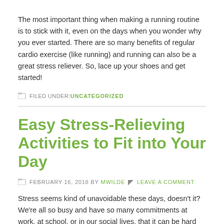The most important thing when making a running routine is to stick with it, even on the days when you wonder why you ever started. There are so many benefits of regular cardio exercise (like running) and running can also be a great stress reliever. So, lace up your shoes and get started!
FILED UNDER: UNCATEGORIZED
Easy Stress-Relieving Activities to Fit into Your Day
FEBRUARY 16, 2018 BY MWILDE  LEAVE A COMMENT
Stress seems kind of unavoidable these days, doesn't it? We're all so busy and have so many commitments at work, at school, or in our social lives, that it can be hard not to let all the stress and pressure pile up. There are all sorts of articles and bits of advice out there on how to reduce your stress levels, but sometimes they